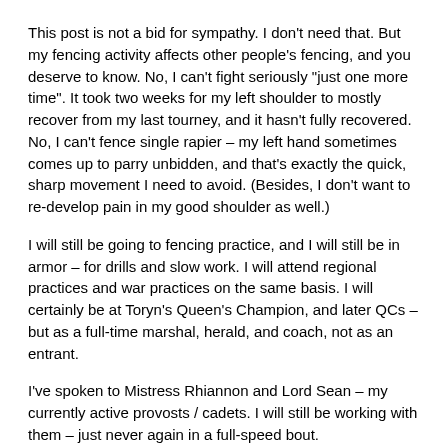This post is not a bid for sympathy. I don't need that. But my fencing activity affects other people's fencing, and you deserve to know. No, I can't fight seriously "just one more time". It took two weeks for my left shoulder to mostly recover from my last tourney, and it hasn't fully recovered. No, I can't fence single rapier – my left hand sometimes comes up to parry unbidden, and that's exactly the quick, sharp movement I need to avoid. (Besides, I don't want to re-develop pain in my good shoulder as well.)
I will still be going to fencing practice, and I will still be in armor – for drills and slow work. I will attend regional practices and war practices on the same basis. I will certainly be at Toryn's Queen's Champion, and later QCs – but as a full-time marshal, herald, and coach, not as an entrant.
I've spoken to Mistress Rhiannon and Lord Sean – my currently active provosts / cadets. I will still be working with them – just never again in a full-speed bout.
I'm still going to be active in Ansteorran rapier – just not as a competitor. This is not the end of the story. It's a new chapter.
“Kiss today goodbye
And point me toward tomorrow